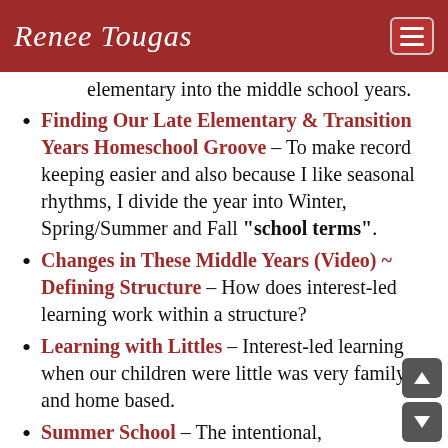Renee Tougas
elementary into the middle school years.
Finding Our Late Elementary & Transition Years Homeschool Groove – To make record keeping easier and also because I like seasonal rhythms, I divide the year into Winter, Spring/Summer and Fall "school terms".
Changes in These Middle Years (Video) ~ Defining Structure – How does interest-led learning work within a structure?
Learning with Littles – Interest-led learning when our children were little was very family and home based.
Summer School – The intentional, parent-led teaching and regular practice of